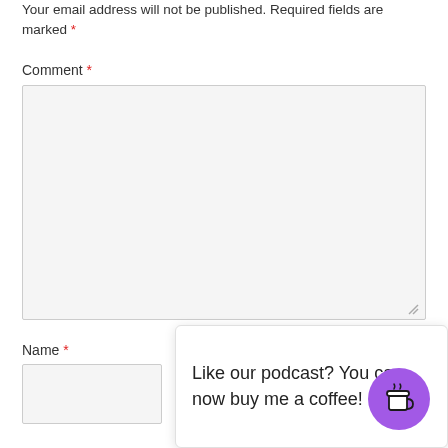Your email address will not be published. Required fields are marked *
Comment *
[Figure (screenshot): Empty comment textarea input box with light gray background and resize handle]
Name *
[Figure (screenshot): Empty name text input box with light gray background]
Like our podcast? You can now buy me a coffee!
[Figure (illustration): Purple circular button with white coffee cup icon]